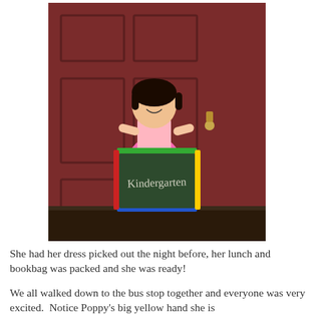[Figure (photo): A young Asian girl in a pink dress standing in front of a dark red door, holding a chalkboard sign that reads 'Kindergarten' with a colorful frame (red, green, blue, yellow borders). She is smiling, wearing white socks and grey sneakers.]
She had her dress picked out the night before, her lunch and bookbag was packed and she was ready!
We all walked down to the bus stop together and everyone was very excited.  Notice Poppy's big yellow hand she is